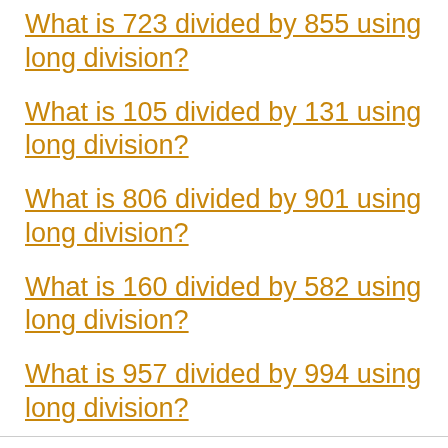What is 723 divided by 855 using long division?
What is 105 divided by 131 using long division?
What is 806 divided by 901 using long division?
What is 160 divided by 582 using long division?
What is 957 divided by 994 using long division?
What is 212 divided by 672 using long division?